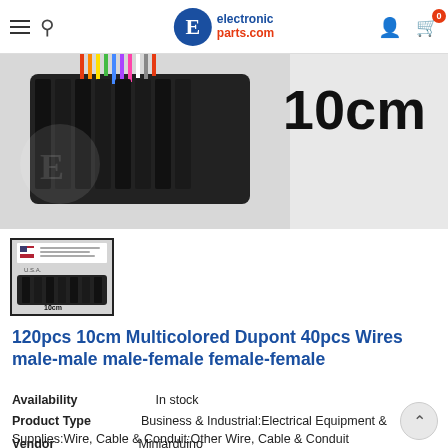electronicparts.com
[Figure (photo): Product photo of 120pcs 10cm multicolored Dupont wires with black connectors, with '10cm' label overlay]
[Figure (photo): Thumbnail of the same Dupont wire product with '10cm' label, with a US flag store label at top]
120pcs 10cm Multicolored Dupont 40pcs Wires male-male male-female female-female
Availability: In stock
Product Type: Business & Industrial:Electrical Equipment & Supplies:Wire, Cable & Conduit:Other Wire, Cable & Conduit
Vendor: Miniarduino